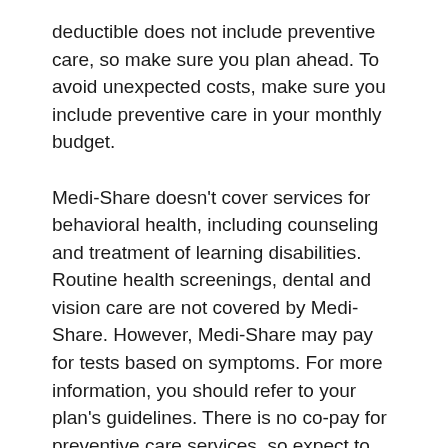deductible does not include preventive care, so make sure you plan ahead. To avoid unexpected costs, make sure you include preventive care in your monthly budget.
Medi-Share doesn't cover services for behavioral health, including counseling and treatment of learning disabilities. Routine health screenings, dental and vision care are not covered by Medi-Share. However, Medi-Share may pay for tests based on symptoms. For more information, you should refer to your plan's guidelines. There is no co-pay for preventive care services, so expect to pay less than you would with traditional health insurance.
While Medi-Share may not be the right financial